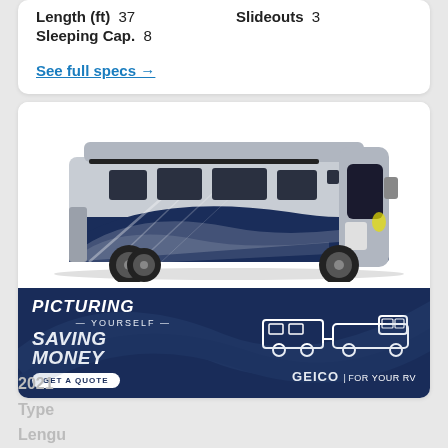Length (ft)  37    Slideouts  3
Sleeping Cap.  8
See full specs →
[Figure (photo): Side view of a large Class A motorhome RV with silver and dark navy blue graphic design exterior, multiple windows, dual rear wheels.]
[Figure (photo): GEICO advertisement banner: dark navy background with text PICTURING YOURSELF SAVING MONEY and white outline illustration of a pickup truck towing a camper/RV trailer, GEICO FOR YOUR RV, GET A QUOTE button.]
2021
Type
Lengu